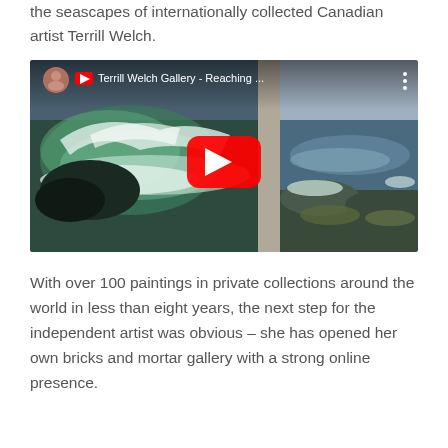the seascapes of internationally collected Canadian artist Terrill Welch.
[Figure (screenshot): YouTube video thumbnail showing 'Terrill Welch Gallery - Reaching ...' with seascape paintings on gallery walls, a play button overlay, artist avatar in top-left corner, and vertical dots menu icon.]
With over 100 paintings in private collections around the world in less than eight years, the next step for the independent artist was obvious – she has opened her own bricks and mortar gallery with a strong online presence.